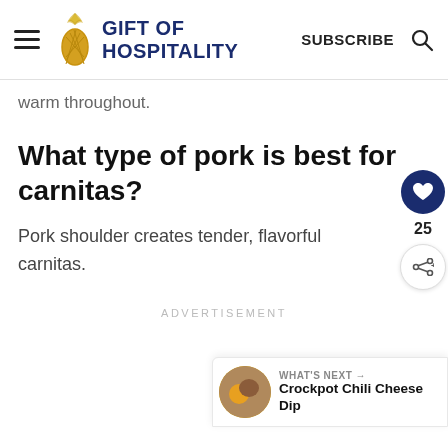GIFT OF HOSPITALITY | SUBSCRIBE
warm throughout.
What type of pork is best for carnitas?
Pork shoulder creates tender, flavorful carnitas.
ADVERTISEMENT